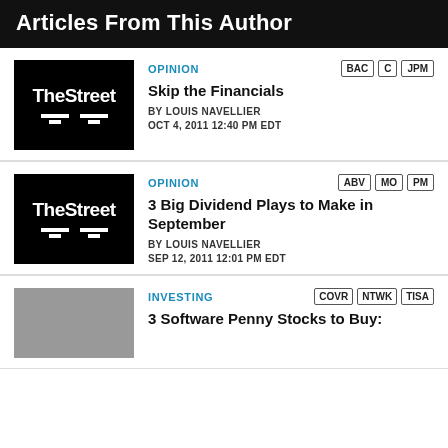Articles From This Author
[Figure (logo): TheStreet logo on black background]
OPINION
BAC  C  JPM
Skip the Financials
BY LOUIS NAVELLIER
OCT 4, 2011 12:40 PM EDT
[Figure (logo): TheStreet logo on black background]
OPINION
ABV  MO  PM
3 Big Dividend Plays to Make in September
BY LOUIS NAVELLIER
SEP 12, 2011 12:01 PM EDT
[Figure (photo): Gray thumbnail image]
INVESTING
COVR  NTWK  TISA
3 Software Penny Stocks to Buy: